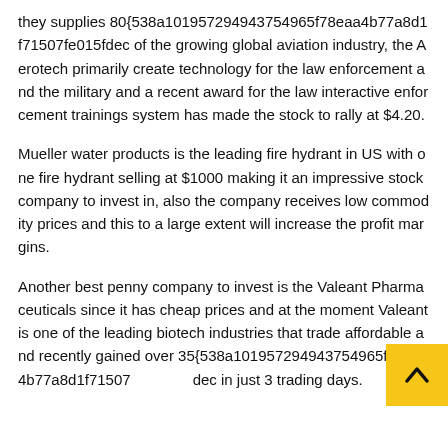they supplies 80{538a101957294943754965f78eaa4b77a8d1f71507fe015fdec of the growing global aviation industry, the Aerotech primarily create technology for the law enforcement and the military and a recent award for the law interactive enforcement trainings system has made the stock to rally at $4.20.
Mueller water products is the leading fire hydrant in US with one fire hydrant selling at $1000 making it an impressive stock company to invest in, also the company receives low commodity prices and this to a large extent will increase the profit margins.
Another best penny company to invest is the Valeant Pharmaceuticals since it has cheap prices and at the moment Valeant is one of the leading biotech industries that trade affordable and recently gained over 35{538a101957294943754965f78eaa4b77a8d1f71507 dec in just 3 trading days.